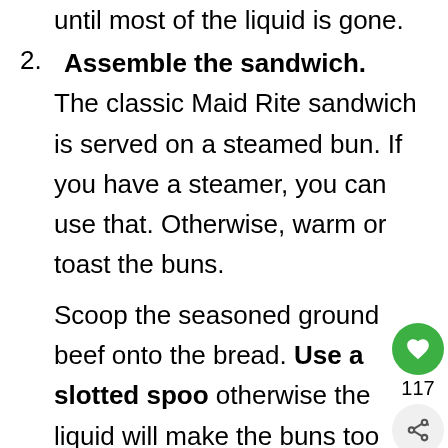until most of the liquid is gone.
2. Assemble the sandwich. The classic Maid Rite sandwich is served on a steamed bun. If you have a steamer, you can use that. Otherwise, warm or toast the buns.
Scoop the seasoned ground beef onto the bread. Use a slotted spoo otherwise the liquid will make the buns too soggy.
3. Add your favorite toppings.
At Maid-Rite, you can order a "Cheese Rite", which is the original